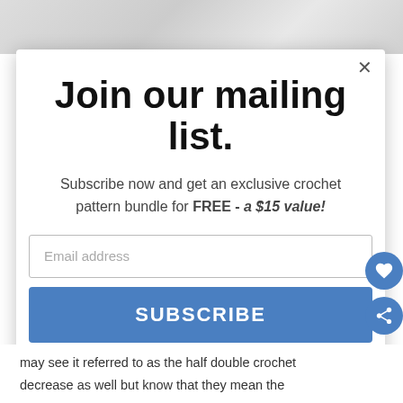[Figure (photo): Background photo of light-colored fabric or textile at the top of the page]
Join our mailing list.
Subscribe now and get an exclusive crochet pattern bundle for FREE - a $15 value!
Email address
SUBSCRIBE
may see it referred to as the half double crochet decrease as well but know that they mean the